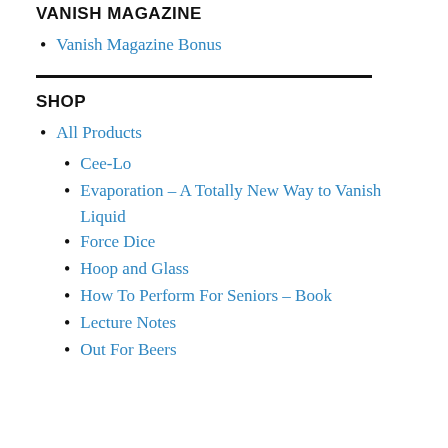VANISH MAGAZINE
Vanish Magazine Bonus
SHOP
All Products
Cee-Lo
Evaporation – A Totally New Way to Vanish Liquid
Force Dice
Hoop and Glass
How To Perform For Seniors – Book
Lecture Notes
Out For Beers